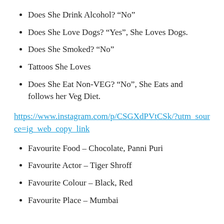Does She Drink Alcohol? “No”
Does She Love Dogs? “Yes”, She Loves Dogs.
Does She Smoked? “No”
Tattoos She Loves
Does She Eat Non-VEG? “No”, She Eats and follows her Veg Diet.
https://www.instagram.com/p/CSGXdPVtCSk/?utm_source=ig_web_copy_link
Favourite Food – Chocolate, Panni Puri
Favourite Actor – Tiger Shroff
Favourite Colour – Black, Red
Favourite Place – Mumbai